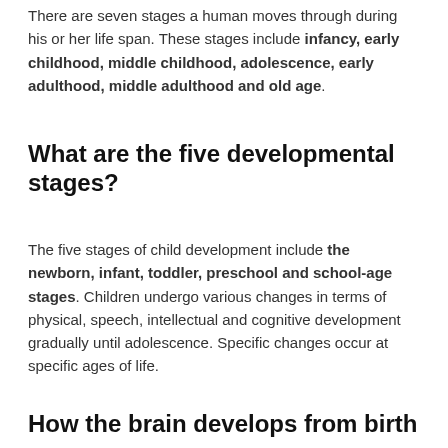There are seven stages a human moves through during his or her life span. These stages include infancy, early childhood, middle childhood, adolescence, early adulthood, middle adulthood and old age.
What are the five developmental stages?
The five stages of child development include the newborn, infant, toddler, preschool and school-age stages. Children undergo various changes in terms of physical, speech, intellectual and cognitive development gradually until adolescence. Specific changes occur at specific ages of life.
How the brain develops from birth